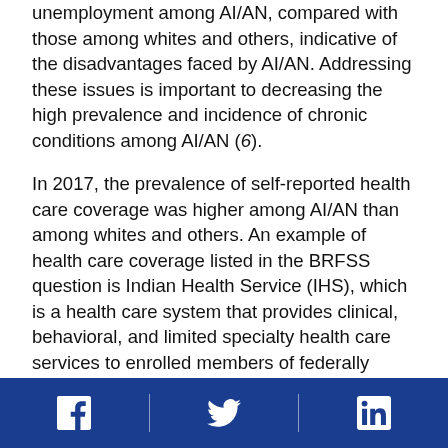unemployment among AI/AN, compared with those among whites and others, indicative of the disadvantages faced by AI/AN. Addressing these issues is important to decreasing the high prevalence and incidence of chronic conditions among AI/AN (6).
In 2017, the prevalence of self-reported health care coverage was higher among AI/AN than among whites and others. An example of health care coverage listed in the BRFSS question is Indian Health Service (IHS), which is a health care system that provides clinical, behavioral, and limited specialty health care services to enrolled members of federally recognized AI/AN tribes.††† With IHS, access to health care services is only available at federal hospitals and clinics operated or funded by IHS and might not ensure that AI/AN have ready access to health
Social media icons: Facebook, Twitter, LinkedIn